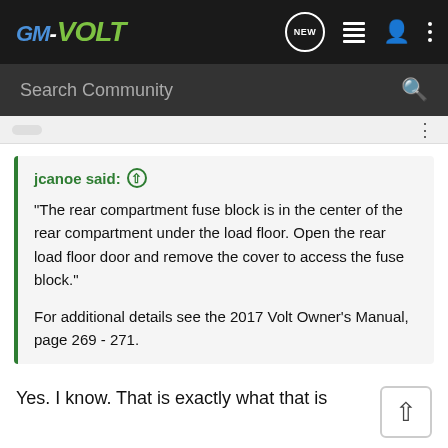GM-VOLT
Search Community
jcanoe said: ↑ "The rear compartment fuse block is in the center of the rear compartment under the load floor. Open the rear load floor door and remove the cover to access the fuse block." For additional details see the 2017 Volt Owner's Manual, page 269 - 271.
Yes. I know. That is exactly what that is
I am simply asking which fuse do I disconnect to disable the